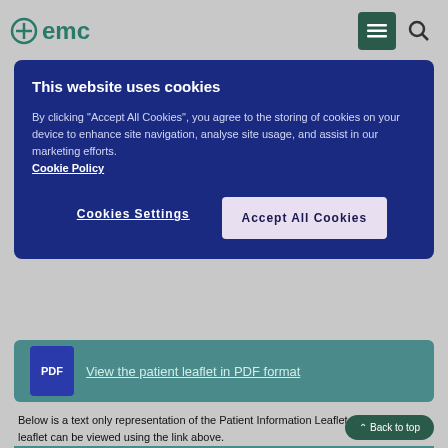emc
This website uses cookies
By clicking "Accept All Cookies", you agree to the storing of cookies on your device to enhance site navigation, analyse site usage, and assist in our marketing efforts. Cookie Policy
Cookies Settings | Accept All Cookies
[Figure (other): PDF icon with link: View the patient leaflet in PDF format]
Below is a text only representation of the Patient Information Leaflet. The original leaflet can be viewed using the link above.
The text only version may be available in large print, Braille or audio CD. For further information call emc accessibility on 0800 198 5000. The product code(s) for this leaflet is: PL 00025/0642.